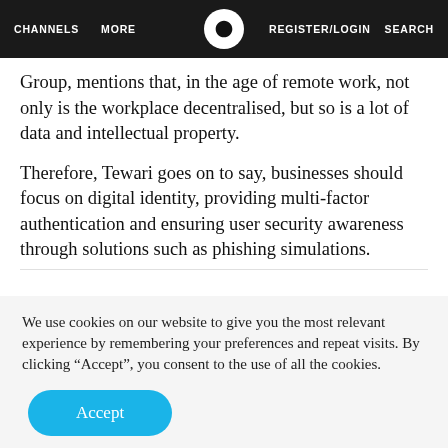CHANNELS   MORE   [logo]   REGISTER/LOGIN   SEARCH
Group, mentions that, in the age of remote work, not only is the workplace decentralised, but so is a lot of data and intellectual property.
Therefore, Tewari goes on to say, businesses should focus on digital identity, providing multi-factor authentication and ensuring user security awareness through solutions such as phishing simulations.
We use cookies on our website to give you the most relevant experience by remembering your preferences and repeat visits. By clicking “Accept”, you consent to the use of all the cookies.
Accept